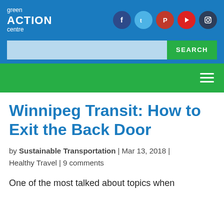[Figure (logo): Green Action Centre logo in white text on blue background]
[Figure (infographic): Social media icons: Facebook (dark blue circle), Twitter (light blue circle), Pinterest (red circle), YouTube (red circle), Instagram (dark navy circle)]
[Figure (screenshot): Search bar with light blue input field and green SEARCH button]
[Figure (screenshot): Green navigation bar with white hamburger menu icon]
Winnipeg Transit: How to Exit the Back Door
by Sustainable Transportation | Mar 13, 2018 | Healthy Travel | 9 comments
One of the most talked about topics when